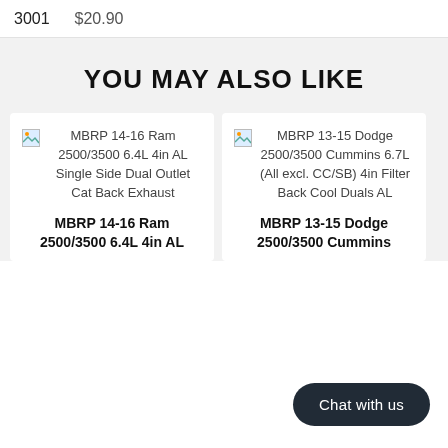3001  $20.90
YOU MAY ALSO LIKE
[Figure (photo): Product image placeholder for MBRP 14-16 Ram 2500/3500 6.4L 4in AL Single Side Dual Outlet Cat Back Exhaust]
MBRP 14-16 Ram 2500/3500 6.4L 4in AL Single Side Dual Outlet Cat Back Exhaust
[Figure (photo): Product image placeholder for MBRP 13-15 Dodge 2500/3500 Cummins 6.7L (All excl. CC/SB) 4in Filter Back Cool Duals AL]
MBRP 13-15 Dodge 2500/3500 Cummins 6.7L (All excl. CC/SB) 4in Filter Back Cool Duals AL
MBRP 14-16 Ram 2500/3500 6.4L 4in AL
MBRP 13-15 Dodge 2500/3500 Cummins